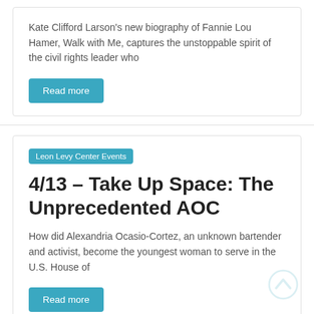Kate Clifford Larson's new biography of Fannie Lou Hamer, Walk with Me, captures the unstoppable spirit of the civil rights leader who
Read more
Leon Levy Center Events
4/13 – Take Up Space: The Unprecedented AOC
How did Alexandria Ocasio-Cortez, an unknown bartender and activist, become the youngest woman to serve in the U.S. House of
Read more